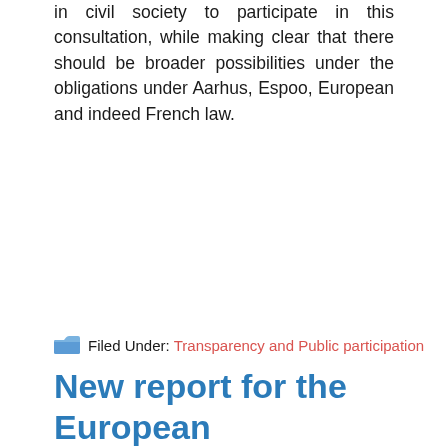in civil society to participate in this consultation, while making clear that there should be broader possibilities under the obligations under Aarhus, Espoo, European and indeed French law.
Filed Under: Transparency and Public participation
New report for the European